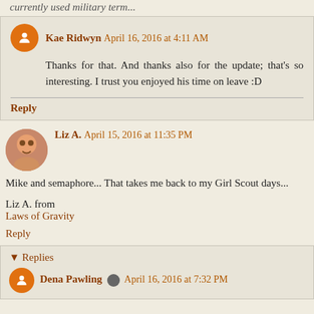...currently used military term.
Kae Ridwyn  April 16, 2016 at 4:11 AM
Thanks for that. And thanks also for the update; that's so interesting. I trust you enjoyed his time on leave :D
Reply
Liz A.  April 15, 2016 at 11:35 PM
Mike and semaphore... That takes me back to my Girl Scout days...

Liz A. from
Laws of Gravity
Reply
▾ Replies
Dena Pawling  ✎  April 16, 2016 at 7:32 PM